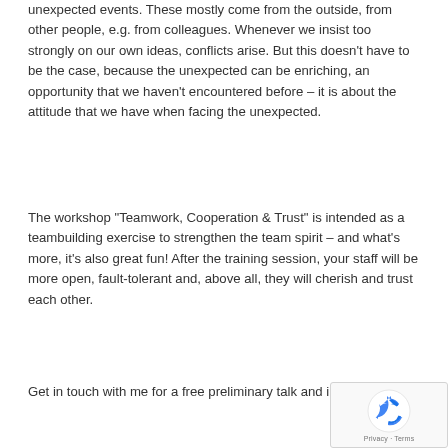unexpected events. These mostly come from the outside, from other people, e.g. from colleagues. Whenever we insist too strongly on our own ideas, conflicts arise. But this doesn't have to be the case, because the unexpected can be enriching, an opportunity that we haven't encountered before – it is about the attitude that we have when facing the unexpected.
The workshop "Teamwork, Cooperation & Trust" is intended as a teambuilding exercise to strengthen the team spirit – and what's more, it's also great fun! After the training session, your staff will be more open, fault-tolerant and, above all, they will cherish and trust each other.
Get in touch with me for a free preliminary talk and initial offer.
[Figure (other): reCAPTCHA privacy badge with recycling-arrow logo and Privacy - Terms text]